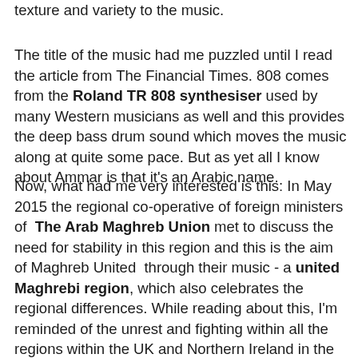texture and variety to the music.
The title of the music had me puzzled until I read the article from The Financial Times. 808 comes from the Roland TR 808 synthesiser used by many Western musicians as well and this provides the deep bass drum sound which moves the music along at quite some pace. But as yet all I know about Ammar is that it's an Arabic name.
Now, what had me very interested is this: In May 2015 the regional co-operative of foreign ministers of The Arab Maghreb Union met to discuss the need for stability in this region and this is the aim of Maghreb United through their music - a united Maghrebi region, which also celebrates the regional differences. While reading about this, I'm reminded of the unrest and fighting within all the regions within the UK and Northern Ireland in the past, including the recent past in Northern Ireland, and how we are now united but without losing those culturally rich differences. The same is true about the European Union. It's still within living memory of many that European countries were at war with each other. (And for the record, I did not vote for the UK to